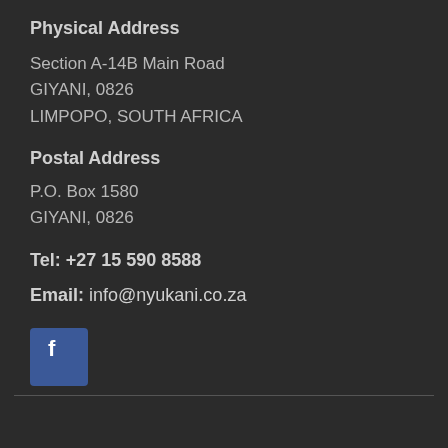Physical Address
Section A-14B Main Road
GIYANI, 0826
LIMPOPO, SOUTH AFRICA
Postal Address
P.O. Box 1580
GIYANI, 0826
Tel: +27 15 590 8588
Email: info@nyukani.co.za
[Figure (logo): Facebook social media icon button — blue square with white 'f' lettermark]